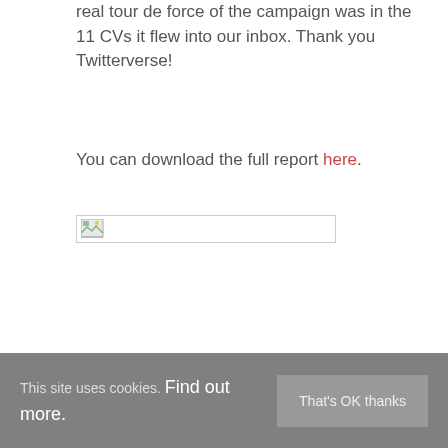real tour de force of the campaign was in the 11 CVs it flew into our inbox. Thank you Twitterverse!
You can download the full report here.
[Figure (other): Broken image placeholder icon with border]
This site uses cookies. Find out more. That's OK thanks